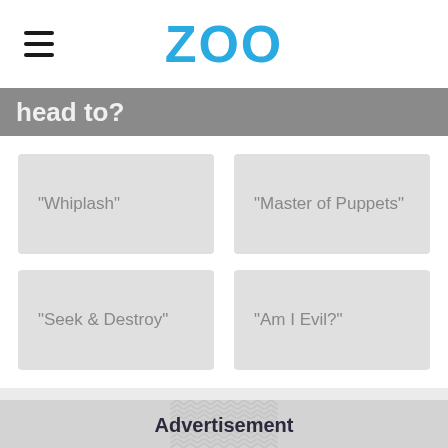ZOO
head to?
"Whiplash"
"Master of Puppets"
"Seek & Destroy"
"Am I Evil?"
Advertisement